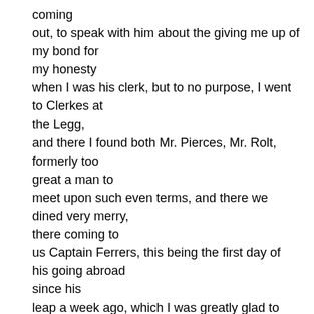coming out, to speak with him about the giving me up of my bond for my honesty when I was his clerk, but to no purpose, I went to Clerkes at the Legg, and there I found both Mr. Pierces, Mr. Rolt, formerly too great a man to meet upon such even terms, and there we dined very merry, there coming to us Captain Ferrers, this being the first day of his going abroad since his leap a week ago, which I was greatly glad to see. By water to the office, and there sat late, Sir George Carteret coming in, who among other things did inquire into the naming of the maisters for this fleet, and was very angry that they were named as they are, and above all to see the maister of the Adventure (for whom there is some kind of difference